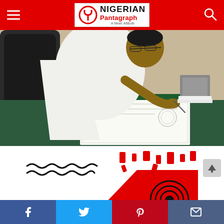Nigerian Pantagraph - A News' Attitude
[Figure (photo): Man in white attire signing a document at a desk with a green surface, seated in a black leather chair.]
[Figure (infographic): Red advertisement banner with text 'ADVETISE HERE!' in large white bold letters, with decorative wavy lines and circular graphics.]
Social share bar: Facebook, Twitter, Pinterest, Email